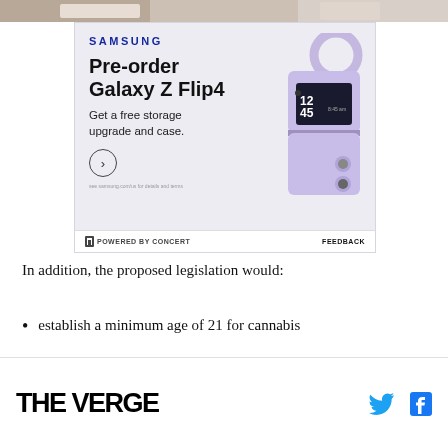[Figure (photo): Top portion of a webpage showing a cropped image banner at the top, then a Samsung advertisement for pre-ordering Galaxy Z Flip4 with a lavender/purple phone image. Ad text: SAMSUNG, Pre-order Galaxy Z Flip4, Get a free storage upgrade and case. Powered by Concert | Feedback bar below.]
In addition, the proposed legislation would:
establish a minimum age of 21 for cannabis
THE VERGE [Twitter icon] [Facebook icon]